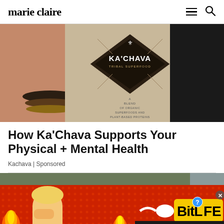marie claire
[Figure (photo): A bag of Ka'Chava Tribal Superfood product being held, showing the diamond-shaped logo and text 'A Blend of Organic Superfoods and Plant-Based Proteins Inspired by Ancient Wisdom']
How Ka'Chava Supports Your Physical + Mental Health
Kachava | Sponsored
[Figure (photo): Partially visible second article image with a dark green/foliage background]
[Figure (other): Advertisement banner for BitLife game showing cartoon character with fire, text 'FAIL' on left side, BitLife logo and 'START A NEW LIFE' on right side with red dotted background]